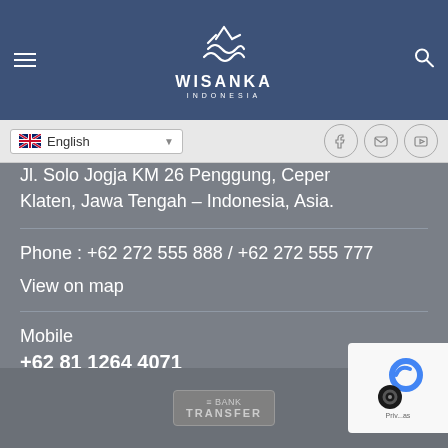WISANKA INDONESIA
[Figure (screenshot): Language selector dropdown showing UK flag and 'English' text, with social media icons (Facebook, Email, YouTube) to the right]
Jl. Solo Jogja KM 26 Penggung, Ceper Klaten, Jawa Tengah – Indonesia, Asia.
Phone : +62 272 555 888 / +62 272 555 777
View on map
Mobile
+62 81 1264 4071
Email : wiendha@wisanka.com
BANK TRANSFER